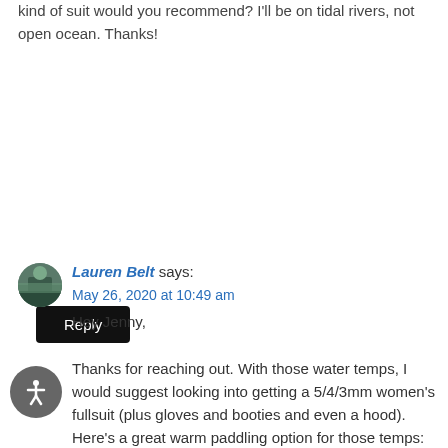kind of suit would you recommend? I'll be on tidal rivers, not open ocean. Thanks!
Reply
Lauren Belt says:
May 26, 2020 at 10:49 am
Hey Jenny,

Thanks for reaching out. With those water temps, I would suggest looking into getting a 5/4/3mm women's fullsuit (plus gloves and booties and even a hood). Here's a great warm paddling option for those temps:
https://www.wetsuitwearhouse.com/PROD/ARJW203003.html and if you want one with a hood, here it is...